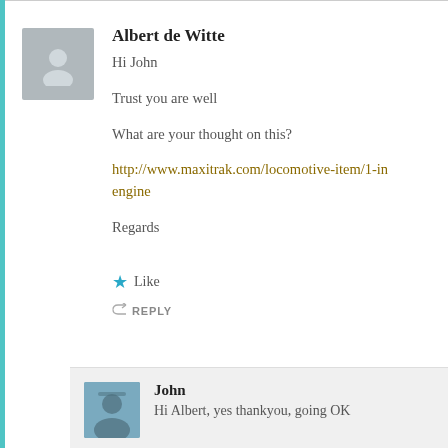Albert de Witte
Hi John

Trust you are well

What are your thought on this?

http://www.maxitrak.com/locomotive-item/1-in...engine

Regards
Like
REPLY
John
Hi Albert, yes thankyou, going OK